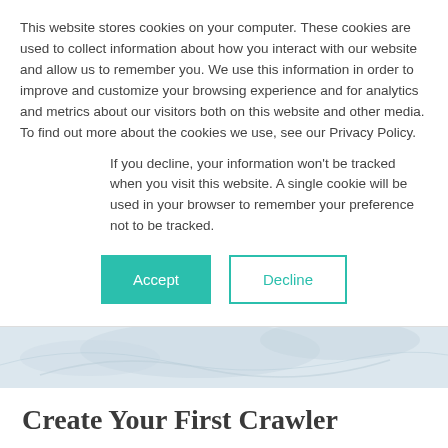This website stores cookies on your computer. These cookies are used to collect information about how you interact with our website and allow us to remember you. We use this information in order to improve and customize your browsing experience and for analytics and metrics about our visitors both on this website and other media. To find out more about the cookies we use, see our Privacy Policy.
If you decline, your information won't be tracked when you visit this website. A single cookie will be used in your browser to remember your preference not to be tracked.
[Figure (other): Two buttons: a teal/green filled 'Accept' button and a white 'Decline' button with teal border and teal text.]
[Figure (photo): Faint light blue-grey hero image area with subtle watermark-like decorative shapes.]
Create Your First Crawler
In the previous module we submitted predictions to a single data stream...